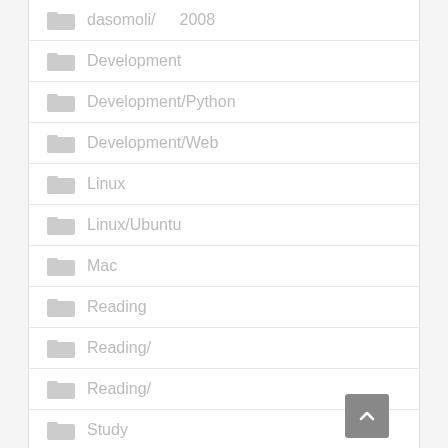dasomoli/  2008
Development
Development/Python
Development/Web
Linux
Linux/Ubuntu
Mac
Reading
Reading/
Reading/
Study
Study/English